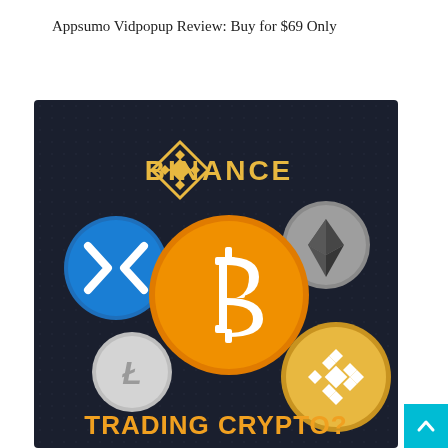Appsumo Vidpopup Review: Buy for $69 Only
[Figure (illustration): Dark-background promotional image for Binance cryptocurrency trading. Shows the Binance logo at top (gold diamond icon + 'BINANCE' text). Center features a large orange Bitcoin coin with white B symbol. Surrounding coins: blue XRP coin (left), gray Ethereum coin (top-right), gray Litecoin coin (bottom-left), gold Binance coin (bottom-right). Bottom text reads 'TRADING CRYPTO?' in gold/orange bold letters.]